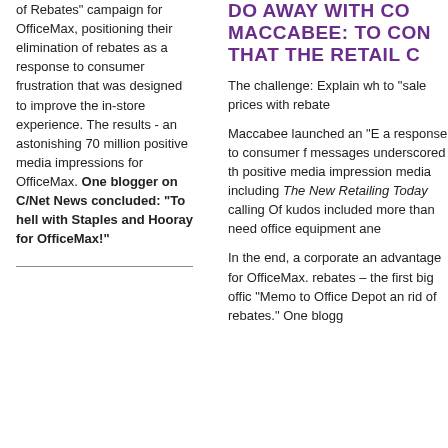of Rebates" campaign for OfficeMax, positioning their elimination of rebates as a response to consumer frustration that was designed to improve the in-store experience. The results - an astonishing 70 million positive media impressions for OfficeMax. One blogger on C/Net News concluded: "To hell with Staples and Hooray for OfficeMax!"
DO AWAY WITH CO... MACCABEE: TO CON... THAT THE RETAIL C...
The challenge: Explain wh... to "sale prices with rebate...
Maccabee launched an "E... a response to consumer f... messages underscored th... positive media impression... media including The New... Retailing Today calling Of... kudos included more than... need office equipment ane...
In the end, a corporate an... advantage for OfficeMax.... rebates – the first big offic... "Memo to Office Depot an... rid of rebates." One blogg...